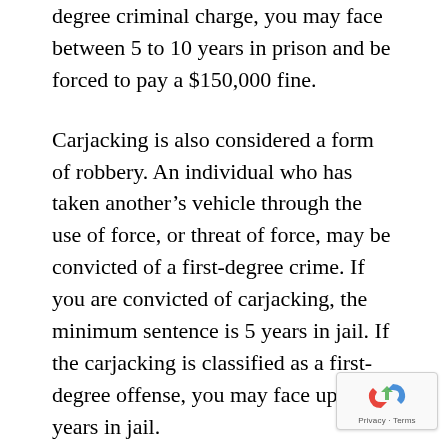degree criminal charge, you may face between 5 to 10 years in prison and be forced to pay a $150,000 fine.
Carjacking is also considered a form of robbery. An individual who has taken another’s vehicle through the use of force, or threat of force, may be convicted of a first-degree crime. If you are convicted of carjacking, the minimum sentence is 5 years in jail. If the carjacking is classified as a first-degree offense, you may face up to 30 years in jail.
In New Jersey, burglary is the unlawful entry into a dwelling or structure for the purpose